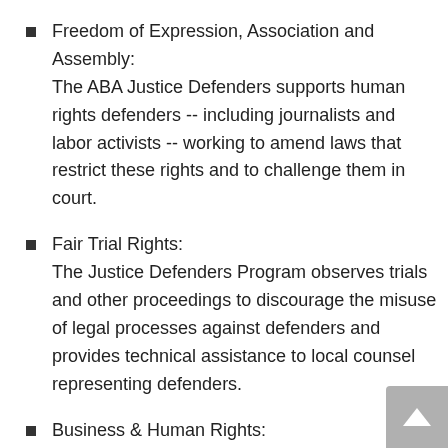Freedom of Expression, Association and Assembly:
The ABA Justice Defenders supports human rights defenders -- including journalists and labor activists -- working to amend laws that restrict these rights and to challenge them in court.
Fair Trial Rights:
The Justice Defenders Program observes trials and other proceedings to discourage the misuse of legal processes against defenders and provides technical assistance to local counsel representing defenders.
Business & Human Rights:
The Center works with local partners facing...